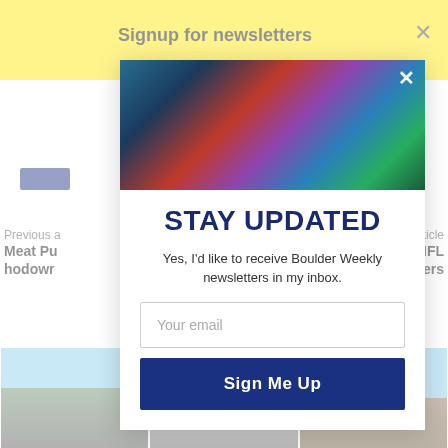Signup for newsletters
[Figure (screenshot): Newsletter signup modal popup overlay on a news website. Modal shows a mountain/landscape hero image at top with a close X button, then 'STAY UPDATED' headline, descriptive text, email input field, and Sign Me Up button. Background shows yellow header bar, article navigation links, and bottom photo strip.]
STAY UPDATED
Yes, I'd like to receive Boulder Weekly newsletters in my inbox.
Your email
Sign Me Up